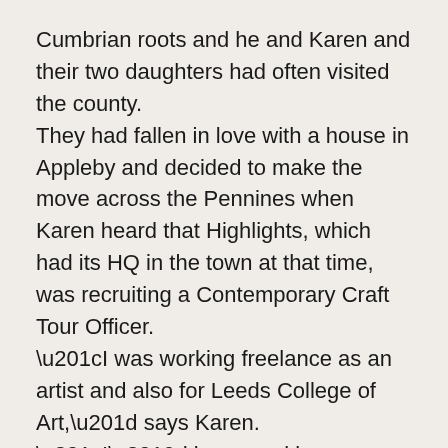Cumbrian roots and he and Karen and their two daughters had often visited the county.
They had fallen in love with a house in Appleby and decided to make the move across the Pennines when Karen heard that Highlights, which had its HQ in the town at that time, was recruiting a Contemporary Craft Tour Officer.
“I was working freelance as an artist and also for Leeds College of Art,” says Karen. “I’d been working as a curator throughout my career and the post seemed a perfect fit.”